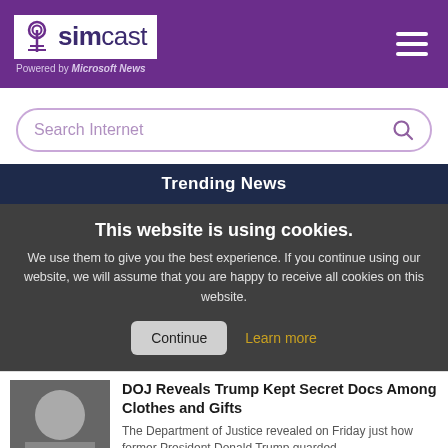simcast — Powered by Microsoft News
Search Internet
Trending News
This website is using cookies. We use them to give you the best experience. If you continue using our website, we will assume that you are happy to receive all cookies on this website.
Continue | Learn more
DOJ Reveals Trump Kept Secret Docs Among Clothes and Gifts
The Department of Justice revealed on Friday just how former President Donald Trump guarded